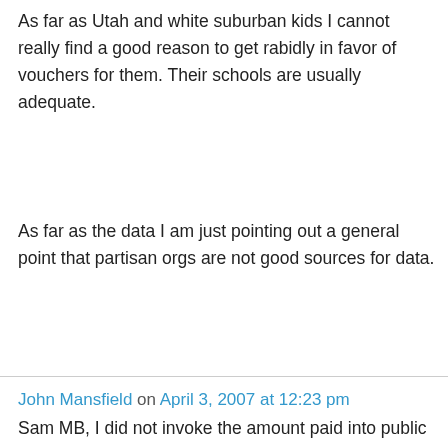As far as Utah and white suburban kids I cannot really find a good reason to get rabidly in favor of vouchers for them. Their schools are usually adequate.
As far as the data I am just pointing out a general point that partisan orgs are not good sources for data.
John Mansfield on April 3, 2007 at 12:23 pm
Sam MB, I did not invoke the amount paid into public education by the rich. I invoked the amount paid by the state to fund education. If a student withdraws from public school, then that's a reduction of expense to the state, regardless of